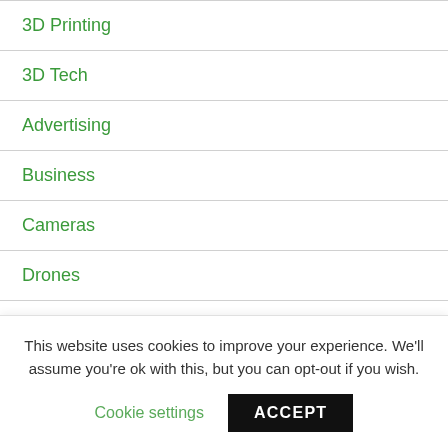3D Printing
3D Tech
Advertising
Business
Cameras
Drones
Editing
Gear
History
This website uses cookies to improve your experience. We'll assume you're ok with this, but you can opt-out if you wish.
Cookie settings  ACCEPT